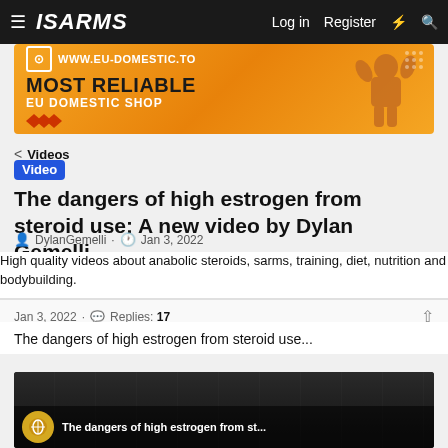ISARMS — Log in  Register
[Figure (photo): Banner advertisement for www.eu-domestic.to showing 'MOST RELIABLE EU DOMESTIC SHOP' with orange/gold background and muscular figure]
< Videos
Video  The dangers of high estrogen from steroid use: A new video by Dylan Gemelli
DylanGemelli · Jan 3, 2022
High quality videos about anabolic steroids, sarms, training, diet, nutrition and bodybuilding.
Jan 3, 2022 · Replies: 17
The dangers of high estrogen from steroid use...
[Figure (screenshot): Video thumbnail showing 'The dangers of high estrogen from st...' with dark background and channel logo]